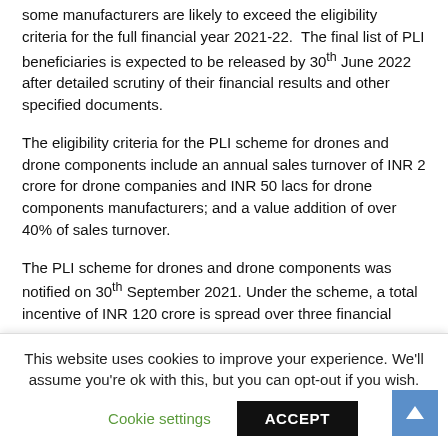some manufacturers are likely to exceed the eligibility criteria for the full financial year 2021-22. The final list of PLI beneficiaries is expected to be released by 30th June 2022 after detailed scrutiny of their financial results and other specified documents.
The eligibility criteria for the PLI scheme for drones and drone components include an annual sales turnover of INR 2 crore for drone companies and INR 50 lacs for drone components manufacturers; and a value addition of over 40% of sales turnover.
The PLI scheme for drones and drone components was notified on 30th September 2021. Under the scheme, a total incentive of INR 120 crore is spread over three financial years
This website uses cookies to improve your experience. We'll assume you're ok with this, but you can opt-out if you wish.